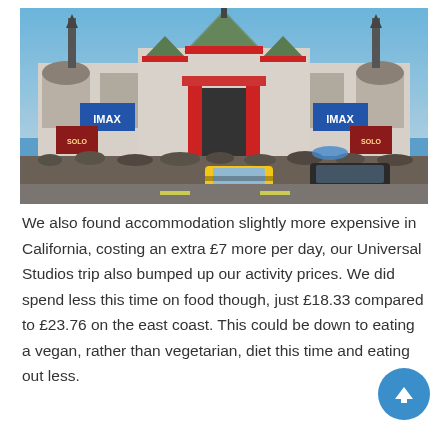[Figure (photo): Exterior photo of Grauman's Chinese Theatre in Hollywood, California. The ornate pagoda-style building with red and green roof is visible, with IMAX banners on either side, a large crowd of people in front, and yellow and black cars on the street.]
We also found accommodation slightly more expensive in California, costing an extra £7 more per day, our Universal Studios trip also bumped up our activity prices. We did spend less this time on food though, just £18.33 compared to £23.76 on the east coast. This could be down to eating a vegan, rather than vegetarian, diet this time and eating out less.